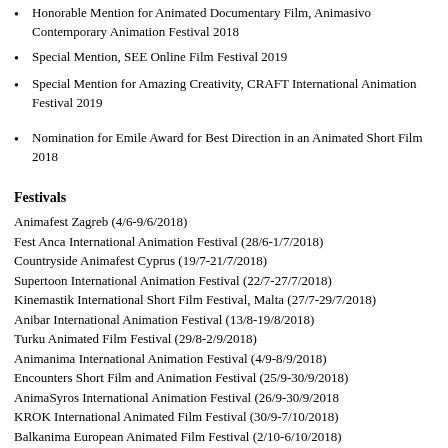Honorable Mention for Animated Documentary Film, Animasivo Contemporary Animation Festival 2018
Special Mention, SEE Online Film Festival 2019
Special Mention for Amazing Creativity, CRAFT International Animation Festival 2019
Nomination for Emile Award for Best Direction in an Animated Short Film 2018
Festivals
Animafest Zagreb (4/6-9/6/2018)
Fest Anca International Animation Festival (28/6-1/7/2018)
Countryside Animafest Cyprus (19/7-21/7/2018)
Supertoon International Animation Festival (22/7-27/7/2018)
Kinemastik International Short Film Festival, Malta (27/7-29/7/2018)
Anibar International Animation Festival (13/8-19/8/2018)
Turku Animated Film Festival (29/8-2/9/2018)
Animanima International Animation Festival (4/9-8/9/2018)
Encounters Short Film and Animation Festival (25/9-30/9/2018)
AnimaSyros International Animation Festival (26/9-30/9/2018
KROK International Animated Film Festival (30/9-7/10/2018)
Balkanima European Animated Film Festival (2/10-6/10/2018)
Scontri International Film Festival (4/10-7/10/2018)